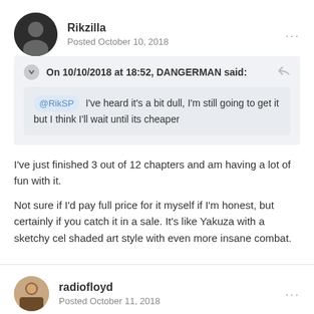Rikzilla
Posted October 10, 2018
On 10/10/2018 at 18:52, DANGERMAN said:
@RikSP I've heard it's a bit dull, I'm still going to get it but I think I'll wait until its cheaper
I've just finished 3 out of 12 chapters and am having a lot of fun with it.
Not sure if I'd pay full price for it myself if I'm honest, but certainly if you catch it in a sale. It's like Yakuza with a sketchy cel shaded art style with even more insane combat.
radiofloyd
Posted October 11, 2018